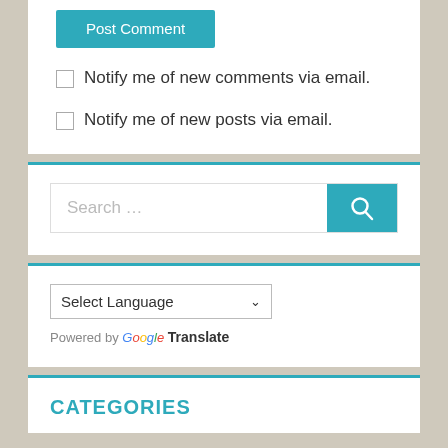[Figure (screenshot): Post Comment button (teal/blue background, white text)]
Notify me of new comments via email.
Notify me of new posts via email.
[Figure (screenshot): Search input field with teal search button and magnifying glass icon]
[Figure (screenshot): Select Language dropdown widget with Google Translate branding]
CATEGORIES